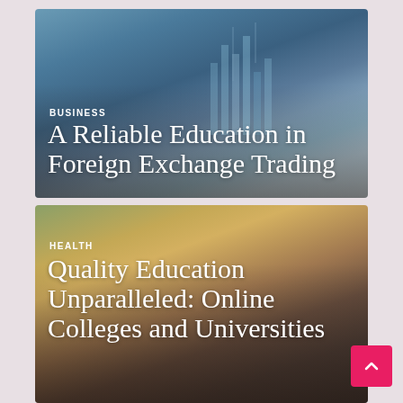[Figure (photo): Top article card: Blue-toned photo of hands on a laptop keyboard with digital/financial chart hologram overlay. Category label 'BUSINESS' and title 'A Reliable Education in Foreign Exchange Trading' overlaid in white text.]
[Figure (photo): Bottom article card: Warm-toned outdoor photo of a person working on a laptop on a bench with flowers/garden in background. Category label 'HEALTH' and title 'Quality Education Unparalleled: Online Colleges and Universities' overlaid in white text.]